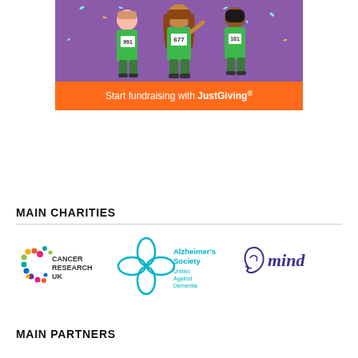[Figure (illustration): JustGiving fundraising promotional banner with cartoon runners wearing numbered bibs (991, 677, 101) in green t-shirts on purple background with orange 'Start fundraising with JustGiving' bar at bottom]
MAIN CHARITIES
[Figure (logo): Cancer Research UK logo - colorful C shape with dots and text]
[Figure (logo): Alzheimer's Society logo - teal flower/forget-me-not shape with text 'United Against Dementia']
[Figure (logo): Mind mental health charity logo in dark blue/purple handwriting style]
MAIN PARTNERS